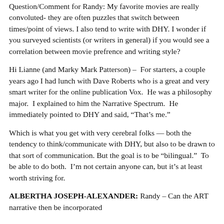Question/Comment for Randy: My favorite movies are really convoluted- they are often puzzles that switch between times/point of views. I also tend to write with DHY. I wonder if you surveyed scientists (or writers in general) if you would see a correlation between movie prefrence and writing style?
Hi Lianne (and Marky Mark Patterson) – For starters, a couple years ago I had lunch with Dave Roberts who is a great and very smart writer for the online publication Vox. He was a philosophy major. I explained to him the Narrative Spectrum. He immediately pointed to DHY and said, “That’s me.”
Which is what you get with very cerebral folks — both the tendency to think/communicate with DHY, but also to be drawn to that sort of communication. But the goal is to be “bilingual.” To be able to do both. I’m not certain anyone can, but it’s at least worth striving for.
ALBERTHA JOSEPH-ALEXANDER: Randy – Can the ART narrative then be incorporated